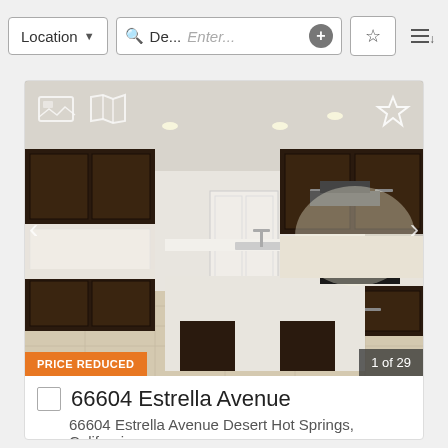Location | De... | Enter... | + | ☆ | sort
[Figure (photo): Interior kitchen photo of 66604 Estrella Avenue listing, showing dark wood cabinets, white island countertop with sink, recessed lighting, and tile floor. Badge: PRICE REDUCED. Counter: 1 of 29.]
66604 Estrella Avenue
66604 Estrella Avenue Desert Hot Springs, Californi...